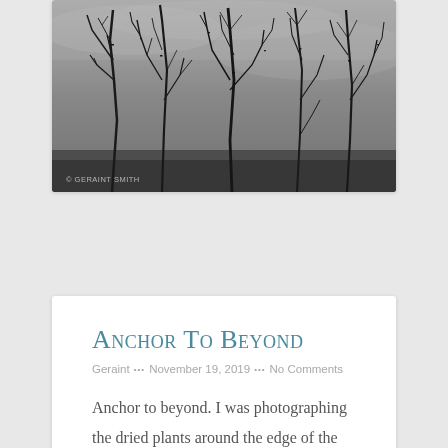[Figure (photo): Black and white photograph of bare tree branches against a grey sky, with a copyright watermark reading '© GERAINT SMITH' in the lower left corner.]
Anchor To Beyond
Geraint ••• November 19, 2019 ••• No Comments
Anchor to beyond. I was photographing the dried plants around the edge of the pasture this morning. I didn't see the spiderweb at first, holding on. The sun came out from behind a cloud for a moment and there it